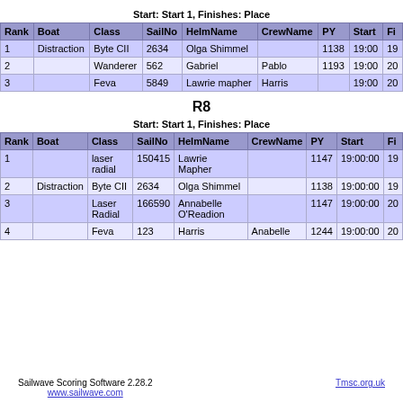Start: Start 1, Finishes: Place
| Rank | Boat | Class | SailNo | HelmName | CrewName | PY | Start | Fi... |
| --- | --- | --- | --- | --- | --- | --- | --- | --- |
| 1 | Distraction | Byte CII | 2634 | Olga Shimmel |  | 1138 | 19:00 | 19... |
| 2 |  | Wanderer | 562 | Gabriel | Pablo | 1193 | 19:00 | 20... |
| 3 |  | Feva | 5849 | Lawrie mapher | Harris |  | 19:00 | 20... |
R8
Start: Start 1, Finishes: Place
| Rank | Boat | Class | SailNo | HelmName | CrewName | PY | Start | Fi... |
| --- | --- | --- | --- | --- | --- | --- | --- | --- |
| 1 |  | laser radial | 150415 | Lawrie Mapher |  | 1147 | 19:00:00 | 19... |
| 2 | Distraction | Byte CII | 2634 | Olga Shimmel |  | 1138 | 19:00:00 | 19... |
| 3 |  | Laser Radial | 166590 | Annabelle O'Readion |  | 1147 | 19:00:00 | 20... |
| 4 |  | Feva | 123 | Harris | Anabelle | 1244 | 19:00:00 | 20... |
Sailwave Scoring Software 2.28.2 www.sailwave.com  Tmsc.org.uk